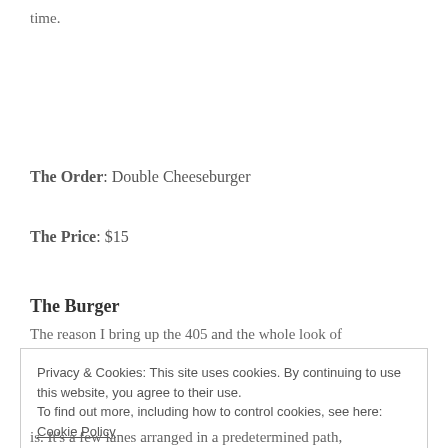time.
The Order: Double Cheeseburger
The Price: $15
The Burger
The reason I bring up the 405 and the whole look of
Privacy & Cookies: This site uses cookies. By continuing to use this website, you agree to their use.
To find out more, including how to control cookies, see here: Cookie Policy
Close and accept
is. It's a few lanes arranged in a predetermined path,